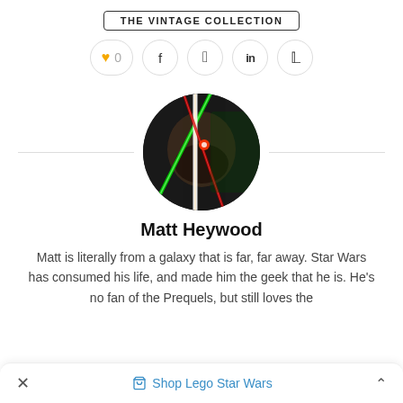THE VINTAGE COLLECTION
[Figure (other): Social sharing bar with heart/like button showing 0, Facebook, Twitter, LinkedIn, and Pinterest icons]
[Figure (photo): Circular profile photo of Matt Heywood with Star Wars lightsaber effect overlaid — dark background with red and green lightsaber beams crossing the face]
Matt Heywood
Matt is literally from a galaxy that is far, far away. Star Wars has consumed his life, and made him the geek that he is. He's no fan of the Prequels, but still loves the
Shop Lego Star Wars